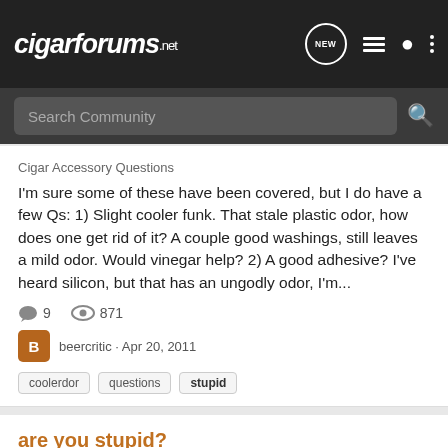cigarforums.net
Search Community
Cigar Accessory Questions
I'm sure some of these have been covered, but I do have a few Qs: 1) Slight cooler funk. That stale plastic odor, how does one get rid of it? A couple good washings, still leaves a mild odor. Would vinegar help? 2) A good adhesive? I've heard silicon, but that has an ungodly odor, I'm...
9   871   beercritic · Apr 20, 2011
coolerdor   questions   stupid
are you stupid?
Cigar Contests